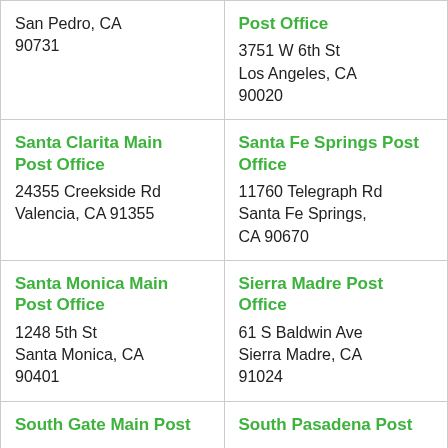| San Pedro, CA 90731 | [Green header cut off top] Post Office
3751 W 6th St
Los Angeles, CA 90020 |
| Santa Clarita Main Post Office
24355 Creekside Rd
Valencia, CA 91355 | Santa Fe Springs Post Office
11760 Telegraph Rd
Santa Fe Springs, CA 90670 |
| Santa Monica Main Post Office
1248 5th St
Santa Monica, CA 90401 | Sierra Madre Post Office
61 S Baldwin Ave
Sierra Madre, CA 91024 |
| South Gate Main Post | South Pasadena Post |